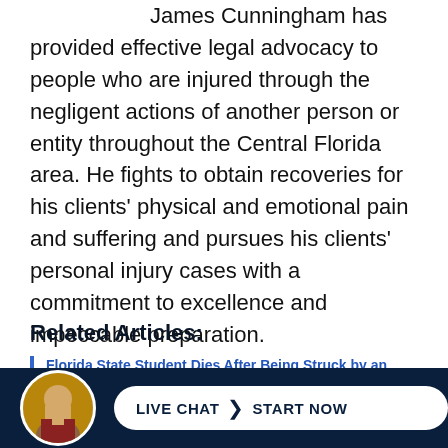James Cunningham has provided effective legal advocacy to people who are injured through the negligent actions of another person or entity throughout the Central Florida area. He fights to obtain recoveries for his clients' physical and emotional pain and suffering and pursues his clients' personal injury cases with a commitment to excellence and impeccable preparation.
Related Articles:
Florida State Student Dies After Being Struck by an Officer's SUV in Collier County
[Figure (photo): Headshot of James Cunningham, attorney, in a suit]